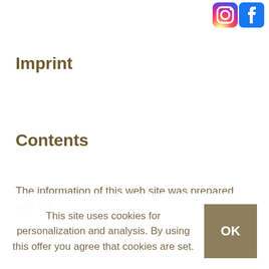[Figure (logo): Instagram and Facebook social media icons in top right corner]
Imprint
Contents
The information of this web site was prepared with the
This site uses cookies for personalization and analysis. By using this offer you agree that cookies are set.